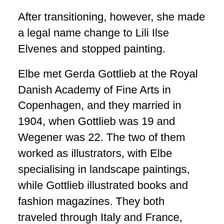After transitioning, however, she made a legal name change to Lili Ilse Elvenes and stopped painting.
Elbe met Gerda Gottlieb at the Royal Danish Academy of Fine Arts in Copenhagen, and they married in 1904, when Gottlieb was 19 and Wegener was 22. The two of them worked as illustrators, with Elbe specialising in landscape paintings, while Gottlieb illustrated books and fashion magazines. They both traveled through Italy and France, eventually settling in Paris in 1912, where Elbe could live openly as a woman, and Gottlieb a lesbian. Elbe received the Neuhausens prize in 1907 and exhibited at Kunstnernes Efterårsudstilling (the Artists Fall Exhibition), at the Vejle Art Museum, and in the Saloon and Salon d'Automme in Paris. She is represented at Vejle Art Museum in Denmark.